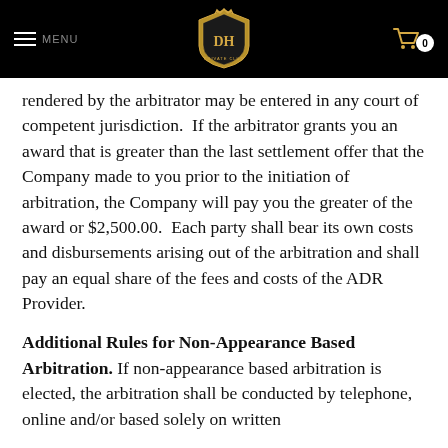MENU | [Logo: Dun Huang] | Cart: 0
rendered by the arbitrator may be entered in any court of competent jurisdiction.  If the arbitrator grants you an award that is greater than the last settlement offer that the Company made to you prior to the initiation of arbitration, the Company will pay you the greater of the award or $2,500.00.  Each party shall bear its own costs and disbursements arising out of the arbitration and shall pay an equal share of the fees and costs of the ADR Provider.
Additional Rules for Non-Appearance Based Arbitration. If non-appearance based arbitration is elected, the arbitration shall be conducted by telephone, online and/or based solely on written